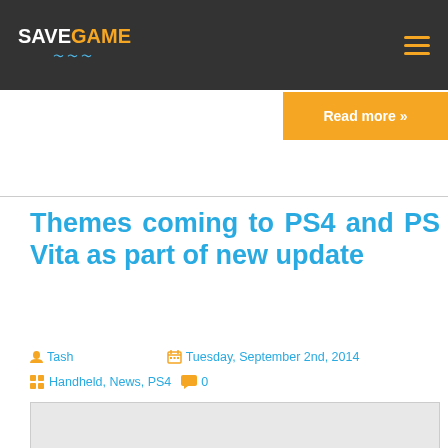SAVEGAME
Read more »
Themes coming to PS4 and PS Vita as part of new update
Tash   Tuesday, September 2nd, 2014
Handheld, News, PS4   0
[Figure (photo): Article image placeholder - light gray rectangle]
Great news for you Playstation Theme-ites (which is a new word i've completely made up) — Sony Computer Entertainment Japan